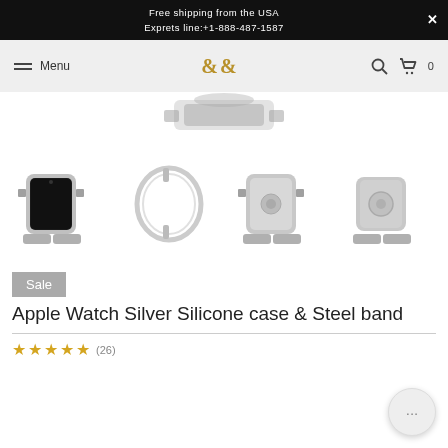Free shipping from the USA
Exprets line:+1-888-487-1587
[Figure (screenshot): Navigation bar with hamburger menu, Menu text, G&C logo in gold, search icon, and cart icon with 0 items]
[Figure (photo): Top portion of Apple Watch with silver steel band, partial view from above]
[Figure (photo): Four product thumbnail images of Apple Watch Silver Silicone case & Steel band: front view with watch face, silicone case ring only, back view of watch, rear view with band]
Sale
Apple Watch Silver Silicone case & Steel band
(26) star rating